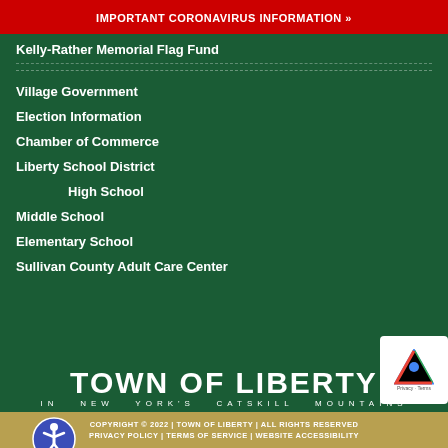IMPORTANT CORONAVIRUS INFORMATION »
Kelly-Rather Memorial Flag Fund
Village Government
Election Information
Chamber of Commerce
Liberty School District
High School
Middle School
Elementary School
Sullivan County Adult Care Center
[Figure (logo): Town of Liberty logo — large white bold text reading TOWN OF LIBERTY with subtitle IN NEW YORK'S CATSKILL MOUNTAINS]
COPYRIGHT © 2022 | TOWN OF LIBERTY | ALL RIGHTS RESERVED | PRIVACY POLICY | TERMS OF SERVICE | WEBSITE ACCESSIBILITY